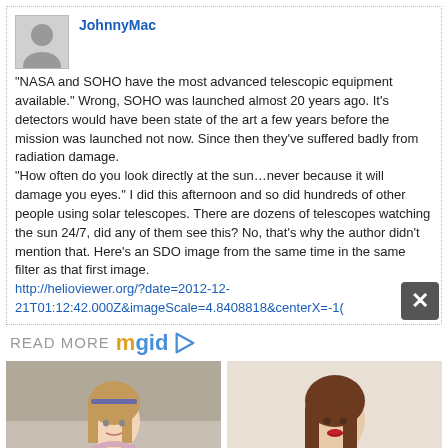JohnnyMac
"NASA and SOHO have the most advanced telescopic equipment available." Wrong, SOHO was launched almost 20 years ago. It's detectors would have been state of the art a few years before the mission was launched not now. Since then they've suffered badly from radiation damage. "How often do you look directly at the sun…never because it will damage you eyes." I did this afternoon and so did hundreds of other people using solar telescopes. There are dozens of telescopes watching the sun 24/7, did any of them see this? No, that's why the author didn't mention that. Here's an SDO image from the same time in the same filter as that first image. http://helioviewer.org/?date=2012-12-21T01:12:42.000Z&imageScale=4.8408818&centerX=-1(
READ MORE mgid
6 Strong Female TV Characters Who Deserve To Have A Spinoff
Jolie's Net Worth Feels Like Salt Sprinkled On Our Injuries!